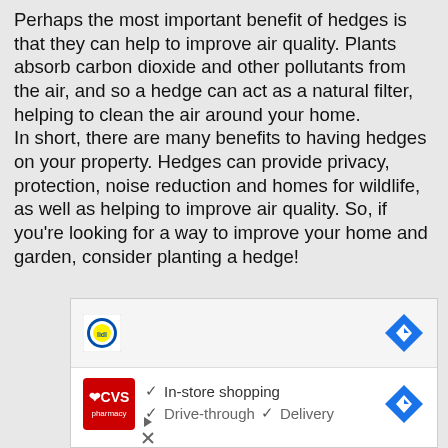Perhaps the most important benefit of hedges is that they can help to improve air quality. Plants absorb carbon dioxide and other pollutants from the air, and so a hedge can act as a natural filter, helping to clean the air around your home.
In short, there are many benefits to having hedges on your property. Hedges can provide privacy, protection, noise reduction and homes for wildlife, as well as helping to improve air quality. So, if you're looking for a way to improve your home and garden, consider planting a hedge!
[Figure (other): Advertisement banner showing Lidl and CVS Pharmacy logos with navigation map icon and service features: In-store shopping, Drive-through, Delivery]